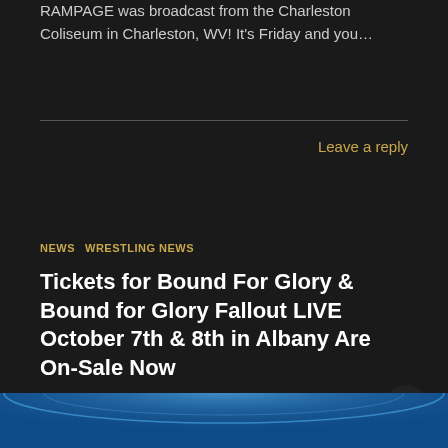RAMPAGE was broadcast from the Charleston Coliseum in Charleston, WV! It's Friday and you…
Leave a reply
NEWS   WRESTLING NEWS
Tickets for Bound For Glory & Bound for Glory Fallout LIVE October 7th & 8th in Albany Are On-Sale Now
August 19, 2022
[Figure (photo): Impact Wrestling logo on dark blue background with arc lighting effect]